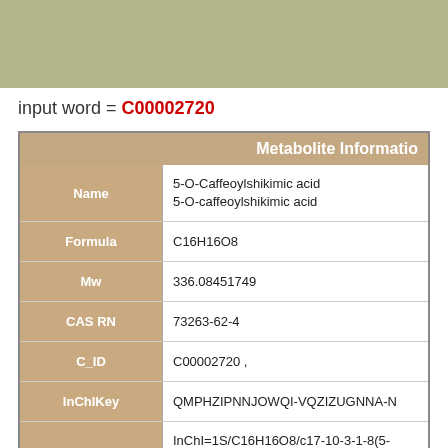input word = C00002720
| Field | Value |
| --- | --- |
| Name | 5-O-Caffeoylshikimic acid
5-O-caffeoylshikimic acid |
| Formula | C16H16O8 |
| Mw | 336.08451749 |
| CAS RN | 73263-62-4 |
| C_ID | C00002720 , |
| InChIKey | QMPHZIPNNJOWQI-VQZIZUGNNA-N |
| InChICode | InChI=1S/C16H16O8/c17-10-3-1-8(5-11(10)18)2-4-12(19)15(13)21/h1-6,12-13,15,17-19,21H,7H2,(H,2 |
| SMILES | C1(=C[C@H]([C@H]([C@@H](C1)OC(=O)/C=C/c |